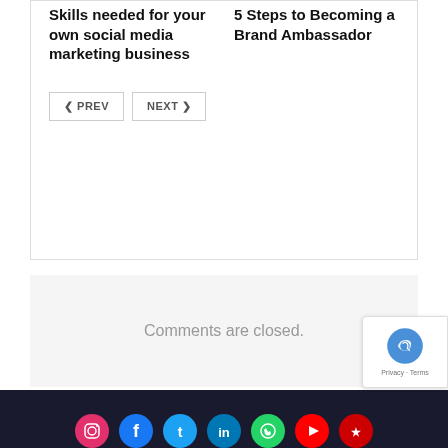Skills needed for your own social media marketing business
5 Steps to Becoming a Brand Ambassador
PREV | NEXT
Comments are closed.
ADVERTISEMENT
ADVERTISEMENT
[Figure (infographic): Dark footer bar with colored social media icon circles (Instagram, Facebook, Twitter, LinkedIn, WhatsApp, YouTube, and more)]